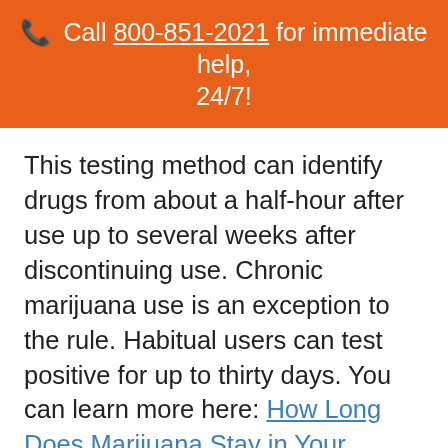📞 Call 800-851-2021 for immediate help, 24/7!
This testing method can identify drugs from about a half-hour after use up to several weeks after discontinuing use. Chronic marijuana use is an exception to the rule. Habitual users can test positive for up to thirty days. You can learn more here: How Long Does Marijuana Stay in Your System?